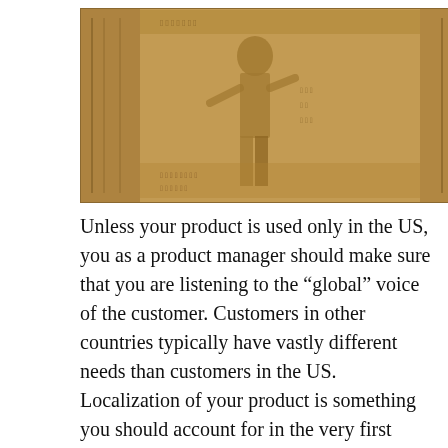[Figure (photo): Photograph of ancient Egyptian hieroglyphic stone relief carving showing a figure and hieroglyphs in brownish-tan tones]
Unless your product is used only in the US, you as a product manager should make sure that you are listening to the “global” voice of the customer. Customers in other countries typically have vastly different needs than customers in the US. Localization of your product is something you should account for in the very first release if you know that your product will be sold in non-English speaking countries. Even if your first release product launch plan is limited to the US market, you should plan to have the I18T support from